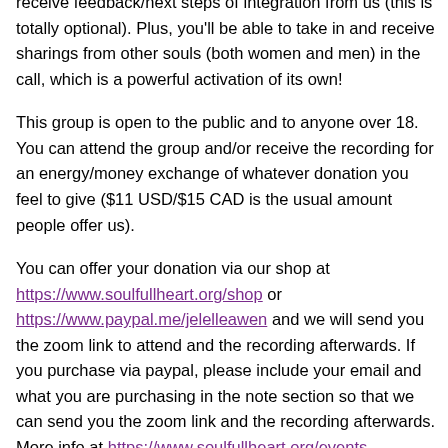receive feedback/next steps of integration from us (this is totally optional). Plus, you'll be able to take in and receive sharings from other souls (both women and men) in the call, which is a powerful activation of its own!
This group is open to the public and to anyone over 18. You can attend the group and/or receive the recording for an energy/money exchange of whatever donation you feel to give ($11 USD/$15 CAD is the usual amount people offer us).
You can offer your donation via our shop at https://www.soulfullheart.org/shop or https://www.paypal.me/jelelleawen and we will send you the zoom link to attend and the recording afterwards. If you purchase via paypal, please include your email and what you are purchasing in the note section so that we can send you the zoom link and the recording afterwards. More info at https://www.soulfullheart.org/events